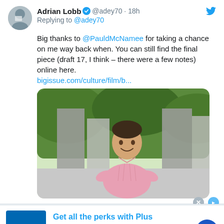[Figure (screenshot): Twitter/X tweet screenshot from Adrian Lobb (@adey70), posted 18h ago, replying to @adey70. Text: 'Big thanks to @PauldMcNamee for taking a chance on me way back when. You can still find the final piece (draft 17, I think – there were a few notes) online here. bigissue.com/culture/film/b...'. Includes an embedded photo of a smiling man in a pink shirt outdoors.]
[Figure (screenshot): Sam's Club advertisement banner: logo showing 's clu' on blue background, 'Get all the perks with Plus', '2% Sam's Cash™. On qualifying purchases, up to $500/year.', 'www.samsclub.com', with a blue circular arrow button.]